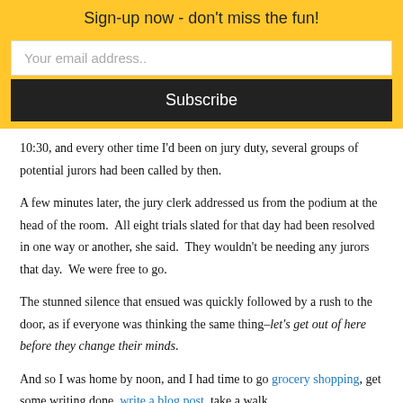Sign-up now - don't miss the fun!
Your email address..
Subscribe
10:30, and every other time I'd been on jury duty, several groups of potential jurors had been called by then.
A few minutes later, the jury clerk addressed us from the podium at the head of the room.  All eight trials slated for that day had been resolved in one way or another, she said.  They wouldn't be needing any jurors that day.  We were free to go.
The stunned silence that ensued was quickly followed by a rush to the door, as if everyone was thinking the same thing–let's get out of here before they change their minds.
And so I was home by noon, and I had time to go grocery shopping, get some writing done, write a blog post, take a walk.